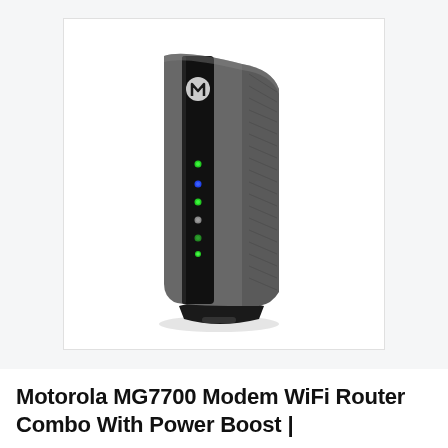[Figure (photo): Product photo of a Motorola MG7700 modem/WiFi router combo. The device is tall and slim with a dark gray textured body, a black front panel strip with green LED indicator lights, a Motorola 'M' logo, and a black base/stand. The device is shown at a slight angle on a white background.]
Motorola MG7700 Modem WiFi Router Combo With Power Boost |